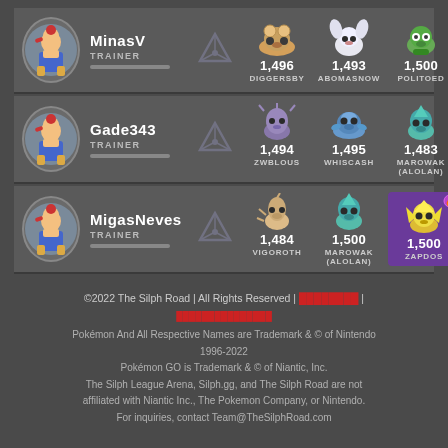MinasV TRAINER | DIGGERSBY 1,496 | ABOMASNOW 1,493 | POLITOED 1,500
Gade343 TRAINER | ZWBLOUS 1,494 | WHISCASH 1,495 | MAROWAK (ALOLAN) 1,483
MigasNeves TRAINER | VIGOROTH 1,484 | MAROWAK (ALOLAN) 1,500 | ZAPDOS 1,500
©2022 The Silph Road | All Rights Reserved | [links] | Pokémon And All Respective Names are Trademark & © of Nintendo 1996-2022 Pokémon GO is Trademark & © of Niantic, Inc. The Silph League Arena, Silph.gg, and The Silph Road are not affiliated with Niantic Inc., The Pokemon Company, or Nintendo. For inquiries, contact Team@TheSilphRoad.com